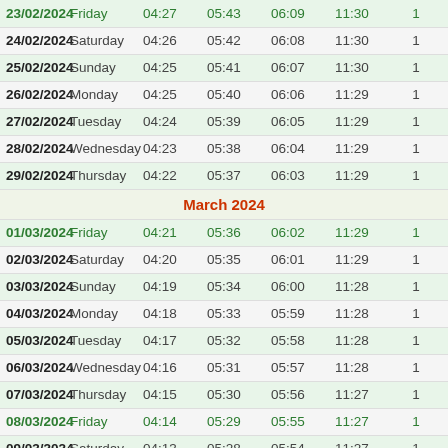| Date | Day | Col3 | Col4 | Col5 | Col6 | Col7 |
| --- | --- | --- | --- | --- | --- | --- |
| 23/02/2024 | Friday | 04:27 | 05:43 | 06:09 | 11:30 | 1 |
| 24/02/2024 | Saturday | 04:26 | 05:42 | 06:08 | 11:30 | 1 |
| 25/02/2024 | Sunday | 04:25 | 05:41 | 06:07 | 11:30 | 1 |
| 26/02/2024 | Monday | 04:25 | 05:40 | 06:06 | 11:29 | 1 |
| 27/02/2024 | Tuesday | 04:24 | 05:39 | 06:05 | 11:29 | 1 |
| 28/02/2024 | Wednesday | 04:23 | 05:38 | 06:04 | 11:29 | 1 |
| 29/02/2024 | Thursday | 04:22 | 05:37 | 06:03 | 11:29 | 1 |
| March 2024 |  |  |  |  |  |  |
| 01/03/2024 | Friday | 04:21 | 05:36 | 06:02 | 11:29 | 1 |
| 02/03/2024 | Saturday | 04:20 | 05:35 | 06:01 | 11:29 | 1 |
| 03/03/2024 | Sunday | 04:19 | 05:34 | 06:00 | 11:28 | 1 |
| 04/03/2024 | Monday | 04:18 | 05:33 | 05:59 | 11:28 | 1 |
| 05/03/2024 | Tuesday | 04:17 | 05:32 | 05:58 | 11:28 | 1 |
| 06/03/2024 | Wednesday | 04:16 | 05:31 | 05:57 | 11:28 | 1 |
| 07/03/2024 | Thursday | 04:15 | 05:30 | 05:56 | 11:27 | 1 |
| 08/03/2024 | Friday | 04:14 | 05:29 | 05:55 | 11:27 | 1 |
| 09/03/2024 | Saturday | 04:13 | 05:28 | 05:54 | 11:27 | 1 |
| 10/03/2024 | Sunday | 04:12 | 05:27 | 05:53 | 11:27 | 1 |